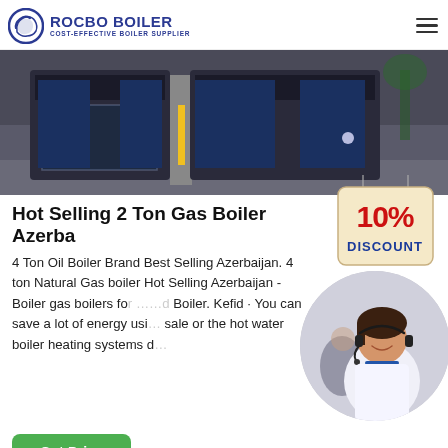ROCBO BOILER - COST-EFFECTIVE BOILER SUPPLIER
[Figure (photo): Industrial boilers in a factory/plant setting — two large dark-blue rectangular boiler units side by side in a room with concrete flooring]
Hot Selling 2 Ton Gas Boiler Azerba...
[Figure (other): 10% DISCOUNT badge/sticker graphic in red and blue on a cream-colored hanging tag]
4 Ton Oil Boiler Brand Best Selling Azerbaijan. 4 ton Natural Gas boiler Hot Selling Azerbaijan -Boiler gas boilers for ... d Boiler. Kefid · You can save a lot of energy usi... sale or the hot water boiler heating systems d...
[Figure (photo): Customer service agent — woman wearing headset smiling, with another agent visible in the background]
Get Price